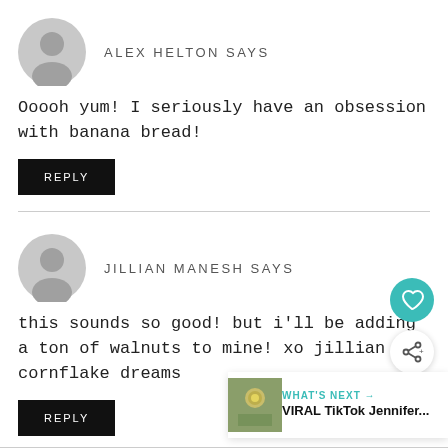ALEX HELTON SAYS
Ooooh yum! I seriously have an obsession with banana bread!
REPLY
JILLIAN MANESH SAYS
this sounds so good! but i'll be adding a ton of walnuts to mine! xo jillian – cornflake dreams
REPLY
WHAT'S NEXT → VIRAL TikTok Jennifer...